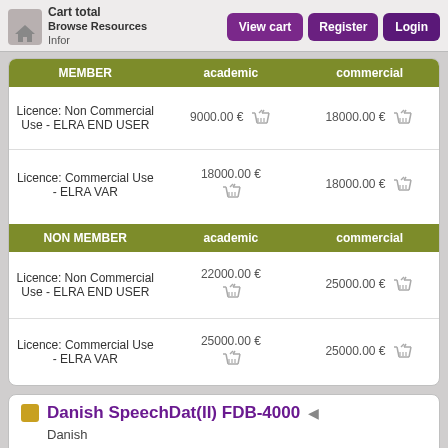Browse Resources | Cart total | Infor... | View cart | Register | Login
| MEMBER | academic | commercial |
| --- | --- | --- |
| Licence: Non Commercial Use - ELRA END USER | 9000.00 € | 18000.00 € |
| Licence: Commercial Use - ELRA VAR | 18000.00 € | 18000.00 € |
| NON MEMBER | academic | commercial |
| --- | --- | --- |
| Licence: Non Commercial Use - ELRA END USER | 22000.00 € | 25000.00 € |
| Licence: Commercial Use - ELRA VAR | 25000.00 € | 25000.00 € |
Danish SpeechDat(II) FDB-4000
Danish
ID: ELRA-S0073